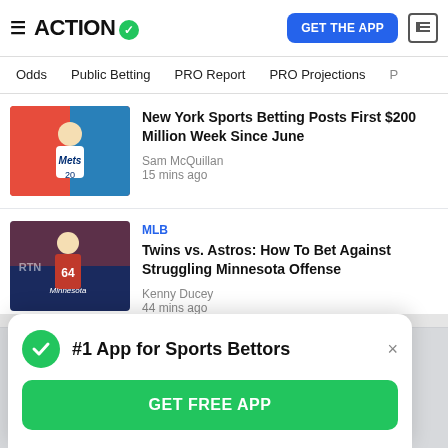ACTION
Odds | Public Betting | PRO Report | PRO Projections
New York Sports Betting Posts First $200 Million Week Since June
Sam McQuillan
15 mins ago
MLB
Twins vs. Astros: How To Bet Against Struggling Minnesota Offense
Kenny Ducey
44 mins ago
#1 App for Sports Bettors
GET FREE APP